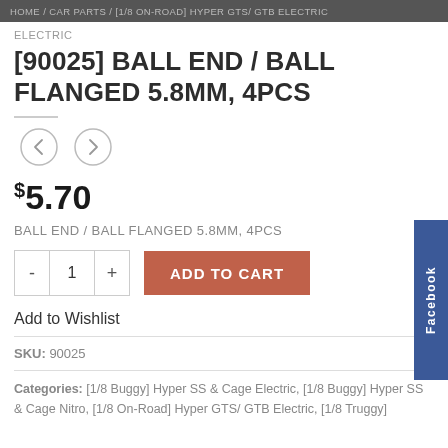HOME / CAR PARTS / [1/8 ON-ROAD] HYPER GTS/ GTB ELECTRIC
ELECTRIC
[90025] BALL END / BALL FLANGED 5.8MM, 4PCS
$5.70
BALL END / BALL FLANGED 5.8MM, 4PCS
ADD TO CART
Add to Wishlist
SKU: 90025
Categories: [1/8 Buggy] Hyper SS & Cage Electric, [1/8 Buggy] Hyper SS & Cage Nitro, [1/8 On-Road] Hyper GTS/ GTB Electric, [1/8 Truggy]